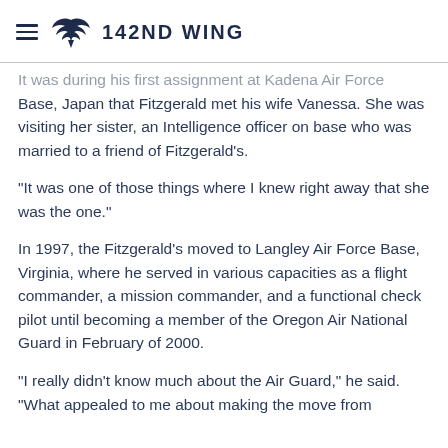142ND WING
It was during his first assignment at Kadena Air Force Base, Japan that Fitzgerald met his wife Vanessa. She was visiting her sister, an Intelligence officer on base who was married to a friend of Fitzgerald's.
"It was one of those things where I knew right away that she was the one."
In 1997, the Fitzgerald's moved to Langley Air Force Base, Virginia, where he served in various capacities as a flight commander, a mission commander, and a functional check pilot until becoming a member of the Oregon Air National Guard in February of 2000.
"I really didn't know much about the Air Guard," he said. "What appealed to me about making the move from active duty was the ability to still fly the F-22 and...